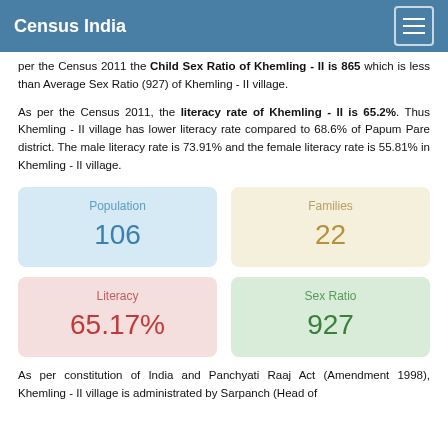Census India
per the Census 2011 the Child Sex Ratio of Khemling - II is 865 which is less than Average Sex Ratio (927) of Khemling - II village.
As per the Census 2011, the literacy rate of Khemling - II is 65.2%. Thus Khemling - II village has lower literacy rate compared to 68.6% of Papum Pare district. The male literacy rate is 73.91% and the female literacy rate is 55.81% in Khemling - II village.
| Metric | Value |
| --- | --- |
| Population | 106 |
| Families | 22 |
| Literacy | 65.17% |
| Sex Ratio | 927 |
As per constitution of India and Panchyati Raaj Act (Amendment 1998), Khemling - II village is administrated by Sarpanch (Head of